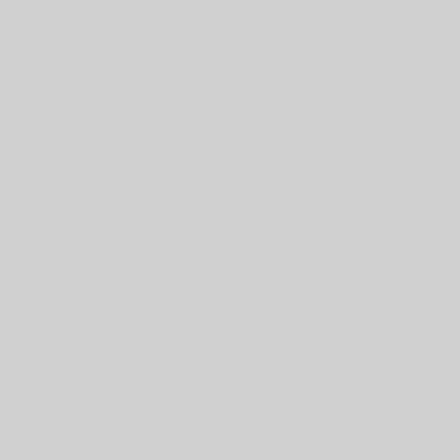1921 (p14, Sharples, Journal of the Numismatic Association of Australia, Jul 1985). Late in 1920 the Sydney Mint ordered 1921-dated shilling working dies from the Royal Mint. The order for thirty pairs of working dies was completed in London on 13th October 1920. These dies had the star above the date (p14, Sharples, Journal of the Numismatic